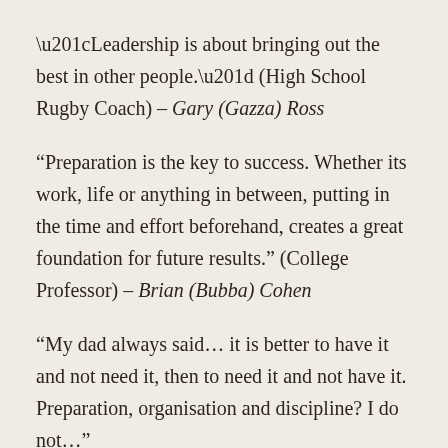“Leadership is about bringing out the best in other people.” (High School Rugby Coach) – Gary (Gazza) Ross
“Preparation is the key to success. Whether its work, life or anything in between, putting in the time and effort beforehand, creates a great foundation for future results.” (College Professor) – Brian (Bubba) Cohen
“My dad always said… it is better to have it and not need it, then to need it and not have it.  Preparation, organisation and discipline? I do not...